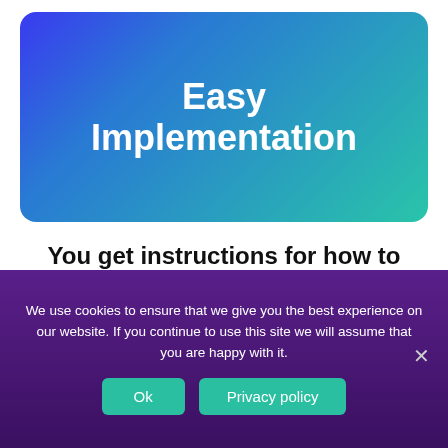[Figure (illustration): Rounded rectangle card with blue-to-teal gradient background containing the title 'Easy Implementation' in white bold text]
Easy Implementation
You get instructions for how to customize and implement everything
We use cookies to ensure that we give you the best experience on our website. If you continue to use this site we will assume that you are happy with it.
Ok
Privacy policy